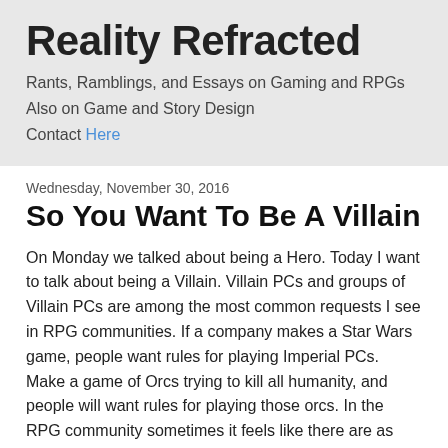Reality Refracted
Rants, Ramblings, and Essays on Gaming and RPGs
Also on Game and Story Design
Contact Here
Wednesday, November 30, 2016
So You Want To Be A Villain
On Monday we talked about being a Hero. Today I want to talk about being a Villain. Villain PCs and groups of Villain PCs are among the most common requests I see in RPG communities. If a company makes a Star Wars game, people want rules for playing Imperial PCs. Make a game of Orcs trying to kill all humanity, and people will want rules for playing those orcs. In the RPG community sometimes it feels like there are as many people wanting to play Evil